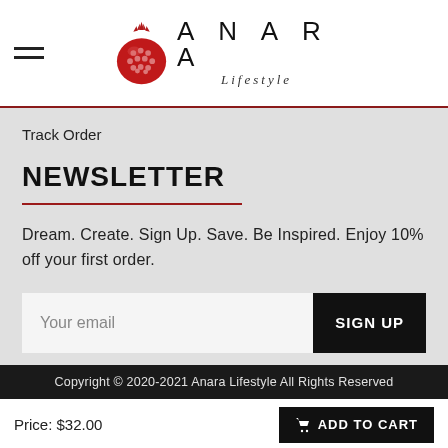ANARA Lifestyle
Track Order
NEWSLETTER
Dream. Create. Sign Up. Save. Be Inspired. Enjoy 10% off your first order.
Your email  SIGN UP
Copyright © 2020-2021 Anara Lifestyle All Rights Reserved
Price: $32.00  ADD TO CART